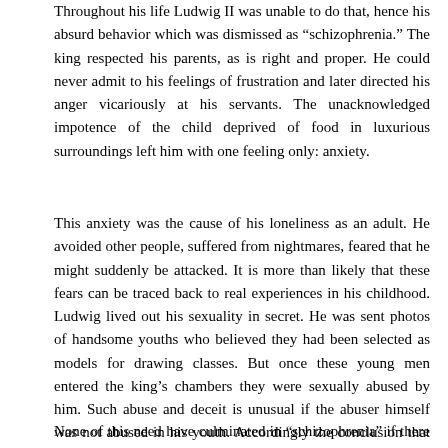Throughout his life Ludwig II was unable to do that, hence his absurd behavior which was dismissed as “schizophrenia.” The king respected his parents, as is right and proper. He could never admit to his feelings of frustration and later directed his anger vicariously at his servants. The unacknowledged impotence of the child deprived of food in luxurious surroundings left him with one feeling only: anxiety.
This anxiety was the cause of his loneliness as an adult. He avoided other people, suffered from nightmares, feared that he might suddenly be attacked. It is more than likely that these fears can be traced back to real experiences in his childhood. Ludwig lived out his sexuality in secret. He was sent photos of handsome youths who believed they had been selected as models for drawing classes. But once these young men entered the king’s chambers they were sexually abused by him. Such abuse and deceit is unusual if the abuser himself was not abused in his youth. Accordingly the conclusion that suggests itself is that Ludwig suffered sexual violence as a child. This need not necessarily have happened in the family. We know from the memoirs of the court physician Horoard what the French king Louis XIII was subjected to by courtiers in his childhood (cf. Alice Miller, Thou Shalt Not Be Aware).
None of this need have culminated in “schizophrenia” if there had been anyone in the vicinity of the adolescent king who could have helped him to recognize his situation, to realize the cruelty of his parents’ attitude, and